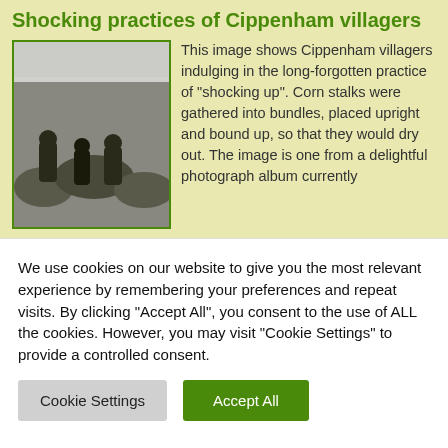Shocking practices of Cippenham villagers
[Figure (photo): Black and white historical photograph of Cippenham villagers in a field, shocking up corn stalks]
This image shows Cippenham villagers indulging in the long-forgotten practice of “shocking up”. Corn stalks were gathered into bundles, placed upright and bound up, so that they would dry out. The image is one from a delightful photograph album currently
Read More
June 30, 2017 | 19 Comments
The Haymill Water Wheel?
We use cookies on our website to give you the most relevant experience by remembering your preferences and repeat visits. By clicking “Accept All”, you consent to the use of ALL the cookies. However, you may visit "Cookie Settings" to provide a controlled consent.
Cookie Settings
Accept All